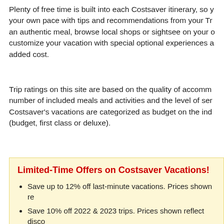Plenty of free time is built into each Costsaver itinerary, so you can explore at your own pace with tips and recommendations from your Trip Director. Enjoy an authentic meal, browse local shops or sightsee on your own, or customize your vacation with special optional experiences available at no added cost.
Trip ratings on this site are based on the quality of accommodations, number of included meals and activities and the level of service. Costsaver's vacations are categorized as budget on the industry scale (budget, first class or deluxe).
Limited-Time Offers on Costsaver Vacations!
Save up to 12% off last-minute vacations. Prices shown re...
Save 10% off 2022 & 2023 trips. Prices shown reflect disco...
Past guests of CostSaver save an additional 5% off pric...
Offers are subject to change or withdrawal at any time. Some...